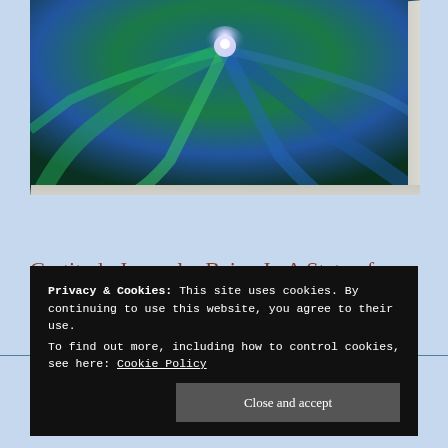[Figure (illustration): Abstract painting on canvas depicting swirling green and blue tones with a white/purple glowing orb in the center. The canvas is shown mounted with visible side and bottom edges giving a 3D effect.]
Gratitude Journal – Being In A State of Gratitude.
05/06/2021
Privacy & Cookies: This site uses cookies. By continuing to use this website, you agree to their use.
To find out more, including how to control cookies, see here: Cookie Policy
Close and accept